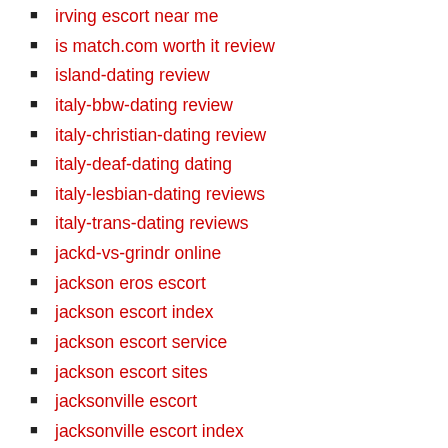irving escort near me
is match.com worth it review
island-dating review
italy-bbw-dating review
italy-christian-dating review
italy-deaf-dating dating
italy-lesbian-dating reviews
italy-trans-dating reviews
jackd-vs-grindr online
jackson eros escort
jackson escort index
jackson escort service
jackson escort sites
jacksonville escort
jacksonville escort index
japan cupid gratuit